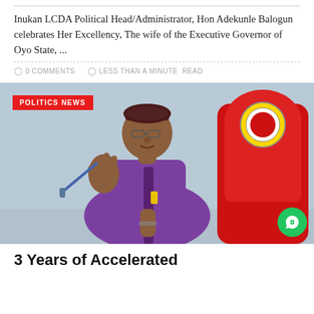Inukan LCDA Political Head/Administrator, Hon Adekunle Balogun celebrates Her Excellency, The wife of the Executive Governor of Oyo State, ...
0 COMMENTS   LESS THAN A MINUTE READ
[Figure (photo): Photo of a man wearing a purple outfit and cap, gesturing with one hand near a red chair with a coat of arms emblem, with a red POLITICS NEWS badge overlay in the top-left corner]
3 Years of Accelerated